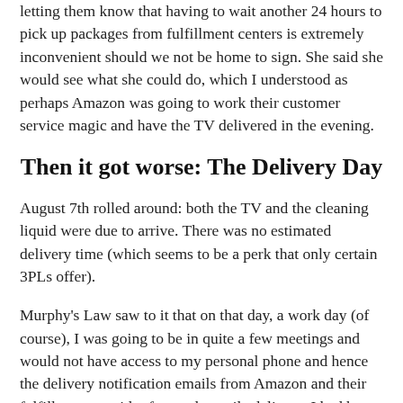letting them know that having to wait another 24 hours to pick up packages from fulfillment centers is extremely inconvenient should we not be home to sign. She said she would see what she could do, which I understood as perhaps Amazon was going to work their customer service magic and have the TV delivered in the evening.
Then it got worse: The Delivery Day
August 7th rolled around: both the TV and the cleaning liquid were due to arrive. There was no estimated delivery time (which seems to be a perk that only certain 3PLs offer).
Murphy's Law saw to it that on that day, a work day (of course), I was going to be in quite a few meetings and would not have access to my personal phone and hence the delivery notification emails from Amazon and their fulfillment provider for my last mile delivery. I had been lulled into a false sense of confidence and security with the TV, having spoken to Amazon a couple days earlier, and having past experiences with